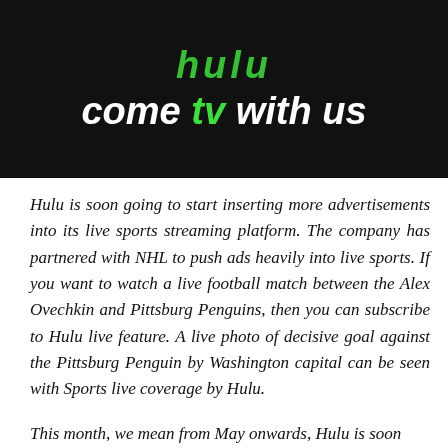[Figure (photo): Dark background with illuminated Hulu sign text reading 'come tv with us' in white and green italic bold lettering, with partial green logo text visible at top]
Hulu is soon going to start inserting more advertisements into its live sports streaming platform. The company has partnered with NHL to push ads heavily into live sports. If you want to watch a live football match between the Alex Ovechkin and Pittsburg Penguins, then you can subscribe to Hulu live feature. A live photo of decisive goal against the Pittsburg Penguin by Washington capital can be seen with Sports live coverage by Hulu.
This month, we mean from May onwards, Hulu is soon